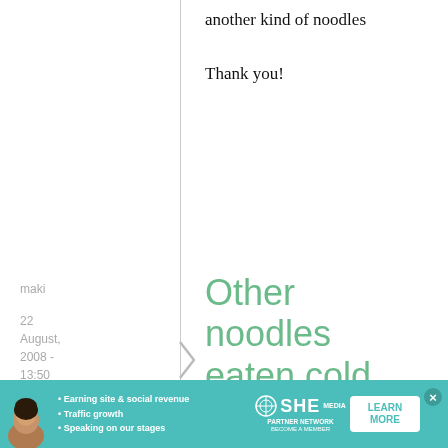another kind of noodles

Thank you!
maki
22 August, 2008 - 13:50
permalink
Other noodles eaten cold
Other noodles eaten cold like this include, in order of thick to thin: udon,
[Figure (other): SHE Partner Network advertisement banner with photo of a woman, bullet points about earning site & social revenue, traffic growth, speaking on stages, SHE logo, and a Learn More button]